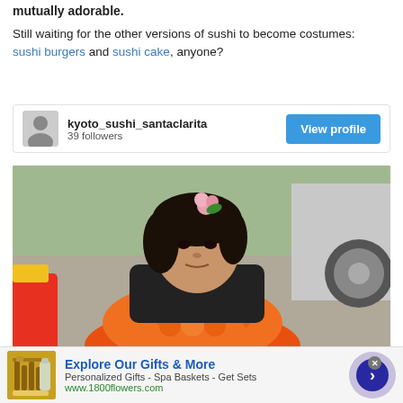mutually adorable.
Still waiting for the other versions of sushi to become costumes: sushi burgers and sushi cake, anyone?
kyoto_sushi_santaclarita
39 followers
View profile
[Figure (photo): Young child dressed in an orange sushi costume with a pink and green flower decoration on her head, photographed outdoors near a car]
Explore Our Gifts & More
Personalized Gifts - Spa Baskets - Get Sets
www.1800flowers.com